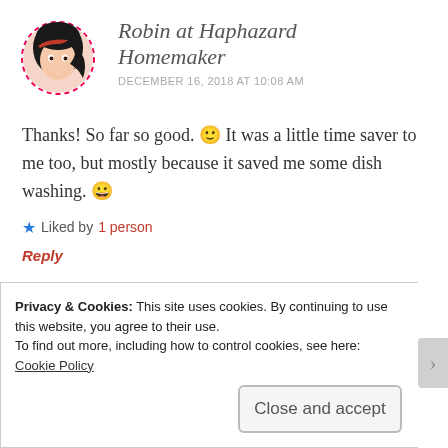[Figure (illustration): Circular avatar with dashed red border showing an illustrated woman with black hair and red headband]
Robin at Haphazard Homemaker
DECEMBER 16, 2018 AT 10:08 AM
Thanks! So far so good. 🙂 It was a little time saver to me too, but mostly because it saved me some dish washing. 😀
★ Liked by 1 person
Reply
Privacy & Cookies: This site uses cookies. By continuing to use this website, you agree to their use.
To find out more, including how to control cookies, see here:
Cookie Policy
Close and accept